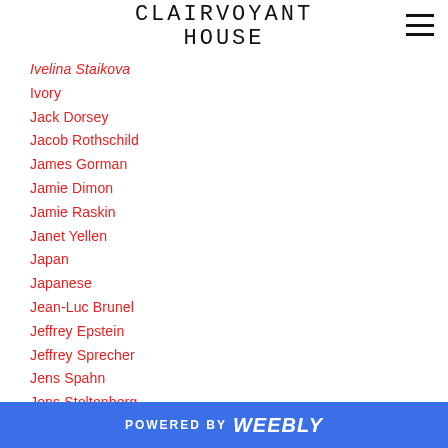CLAIRVOYANT HOUSE
Ivelina Staikova
Ivory
Jack Dorsey
Jacob Rothschild
James Gorman
Jamie Dimon
Jamie Raskin
Janet Yellen
Japan
Japanese
Jean-Luc Brunel
Jeffrey Epstein
Jeffrey Sprecher
Jens Spahn
Jens Stoltenberg
POWERED BY weebly